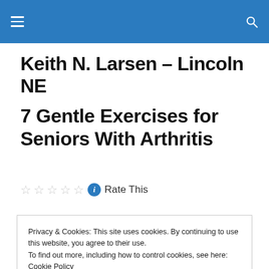Keith N. Larsen – Lincoln NE (site header navigation bar)
Keith N. Larsen – Lincoln NE
7 Gentle Exercises for Seniors With Arthritis
Rate This
Privacy & Cookies: This site uses cookies. By continuing to use this website, you agree to their use.
To find out more, including how to control cookies, see here: Cookie Policy
Close and accept